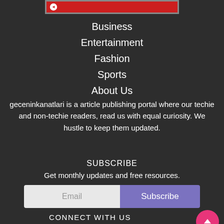[Figure (logo): Red banner header with logo/icon at top of page]
Business
Entertainment
Fashion
Sports
About Us
geceninkanatlari is a article publishing portal where our techie and non-techie readers, read us with equal curiosity. We hustle to keep them updated.
SUBSCRIBE
Get monthly updates and free resources.
[Figure (other): Email input field and Subscribe button]
CONNECT WITH US
[Figure (other): Social media icons: Facebook, Twitter, LinkedIn, Instagram]